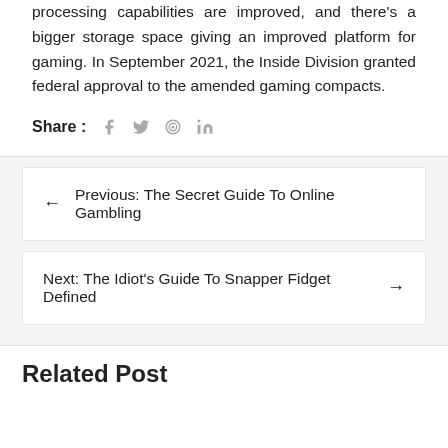processing capabilities are improved, and there's a bigger storage space giving an improved platform for gaming. In September 2021, the Inside Division granted federal approval to the amended gaming compacts.
Share : [facebook] [twitter] [pinterest] [linkedin]
← Previous: The Secret Guide To Online Gambling
Next: The Idiot's Guide To Snapper Fidget Defined →
Related Post